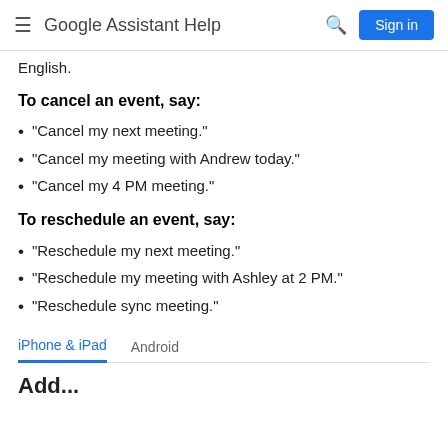Google Assistant Help
English.
To cancel an event, say:
"Cancel my next meeting."
"Cancel my meeting with Andrew today."
"Cancel my 4 PM meeting."
To reschedule an event, say:
"Reschedule my next meeting."
"Reschedule my meeting with Ashley at 2 PM."
"Reschedule sync meeting."
iPhone & iPad   Android
Add...